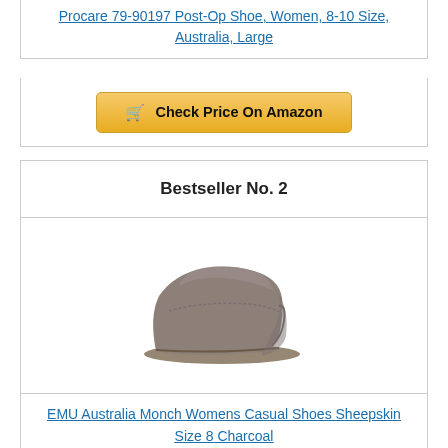Procare 79-90197 Post-Op Shoe, Women, 8-10 Size, Australia, Large
Check Price On Amazon
Bestseller No. 2
[Figure (photo): Gray suede slip-on clog/mule shoe (EMU Australia Monch) viewed from the side on white background]
EMU Australia Monch Womens Casual Shoes Sheepskin Size 8 Charcoal